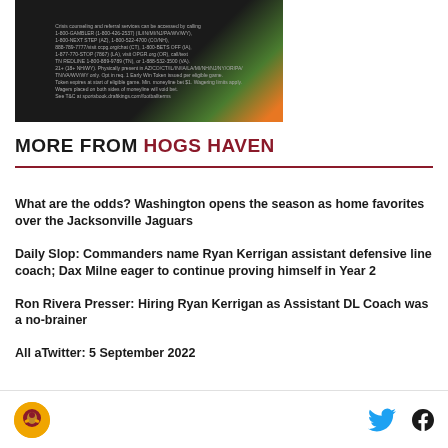[Figure (other): DraftKings advertisement banner with dark background, green and orange gradient, showing gambling helpline numbers and terms text]
MORE FROM HOGS HAVEN
What are the odds? Washington opens the season as home favorites over the Jacksonville Jaguars
Daily Slop: Commanders name Ryan Kerrigan assistant defensive line coach; Dax Milne eager to continue proving himself in Year 2
Ron Rivera Presser: Hiring Ryan Kerrigan as Assistant DL Coach was a no-brainer
All aTwitter: 5 September 2022
Hogs Haven logo, Twitter icon, Facebook icon